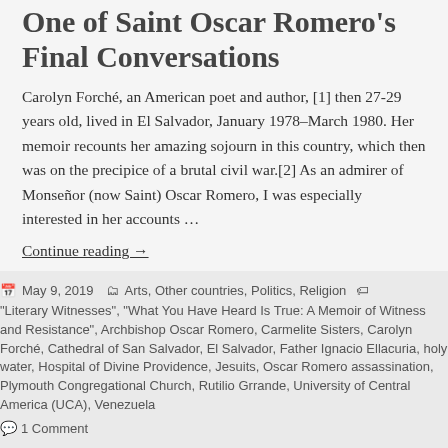One of Saint Oscar Romero's Final Conversations
Carolyn Forché, an American poet and author, [1] then 27-29 years old, lived in El Salvador, January 1978–March 1980. Her memoir recounts her amazing sojourn in this country, which then was on the precipice of a brutal civil war.[2] As an admirer of Monseñor (now Saint) Oscar Romero, I was especially interested in her accounts …
Continue reading →
May 9, 2019   Arts, Other countries, Politics, Religion   "Literary Witnesses", "What You Have Heard Is True: A Memoir of Witness and Resistance", Archbishop Oscar Romero, Carmelite Sisters, Carolyn Forché, Cathedral of San Salvador, El Salvador, Father Ignacio Ellacuria, holy water, Hospital of Divine Providence, Jesuits, Oscar Romero assassination, Plymouth Congregational Church, Rutilio Grrande, University of Central America (UCA), Venezuela   1 Comment